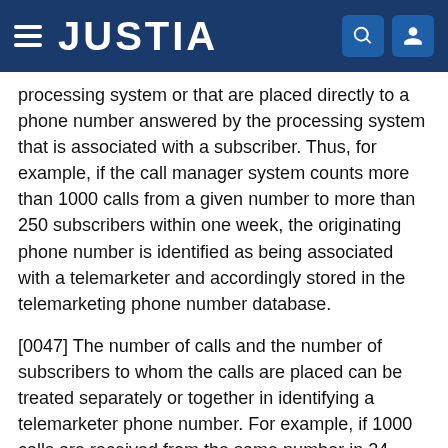JUSTIA
processing system or that are placed directly to a phone number answered by the processing system that is associated with a subscriber. Thus, for example, if the call manager system counts more than 1000 calls from a given number to more than 250 subscribers within one week, the originating phone number is identified as being associated with a telemarketer and accordingly stored in the telemarketing phone number database.
[0047] The number of calls and the number of subscribers to whom the calls are placed can be treated separately or together in identifying a telemarketer phone number. For example, if 1000 calls are received from the same number in 24 hours by ten or more subscribers, the number is identified as a potential telemarketer phone number. If 50 calls are received from the same number in 24 hours by 25 or more